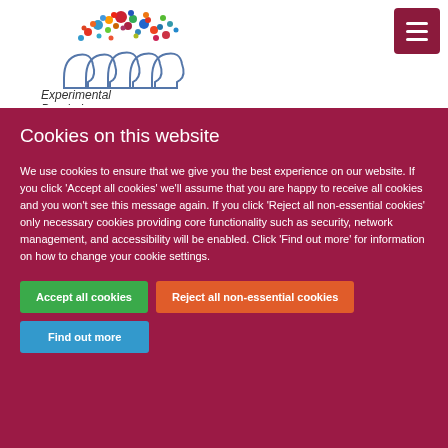[Figure (logo): Experimental Psychology department logo with colorful dots above silhouetted heads and text 'Experimental Psychology' below]
Cookies on this website
We use cookies to ensure that we give you the best experience on our website. If you click 'Accept all cookies' we'll assume that you are happy to receive all cookies and you won't see this message again. If you click 'Reject all non-essential cookies' only necessary cookies providing core functionality such as security, network management, and accessibility will be enabled. Click 'Find out more' for information on how to change your cookie settings.
Accept all cookies
Reject all non-essential cookies
Find out more